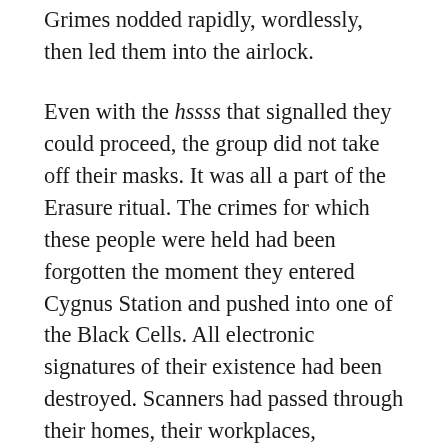Grimes nodded rapidly, wordlessly, then led them into the airlock.
Even with the hssss that signalled they could proceed, the group did not take off their masks. It was all a part of the Erasure ritual. The crimes for which these people were held had been forgotten the moment they entered Cygnus Station and pushed into one of the Black Cells. All electronic signatures of their existence had been destroyed. Scanners had passed through their homes, their workplaces, removing any leftover fiber of their existence. The Erasure was a long and thorough process. Any family or friends or members of the public who sought to protest against it were reminded of their obligations to the Imperium and its